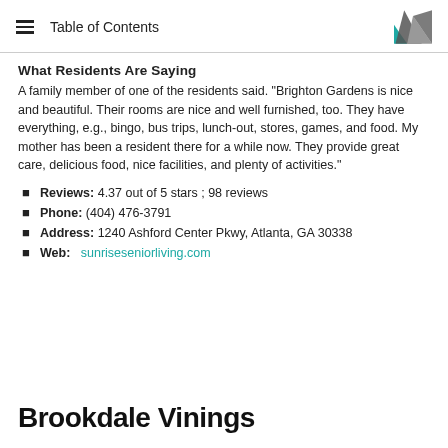Table of Contents
What Residents Are Saying
A family member of one of the residents said. "Brighton Gardens is nice and beautiful. Their rooms are nice and well furnished, too. They have everything, e.g., bingo, bus trips, lunch-out, stores, games, and food. My mother has been a resident there for a while now. They provide great care, delicious food, nice facilities, and plenty of activities."
Reviews: 4.37 out of 5 stars ; 98 reviews
Phone: (404) 476-3791
Address: 1240 Ashford Center Pkwy, Atlanta, GA 30338
Web: sunriseseniorliving.com
Brookdale Vinings